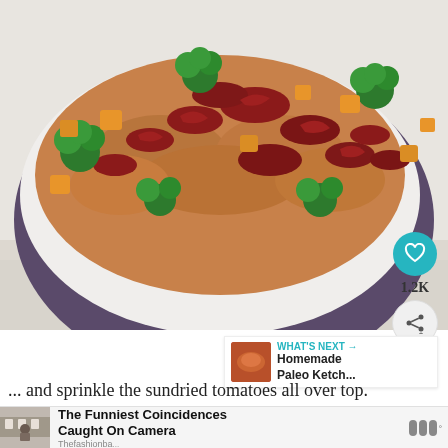[Figure (photo): Close-up photo of a casserole dish filled with chicken, broccoli, butternut squash, and sundried tomatoes, served in a white and dark purple oval baking dish on a white cloth.]
1.2K
WHAT'S NEXT → Homemade Paleo Ketch...
... and sprinkle the sundried tomatoes all over top.
Oof. I already want to dig in!
The Funniest Coincidences Caught On Camera